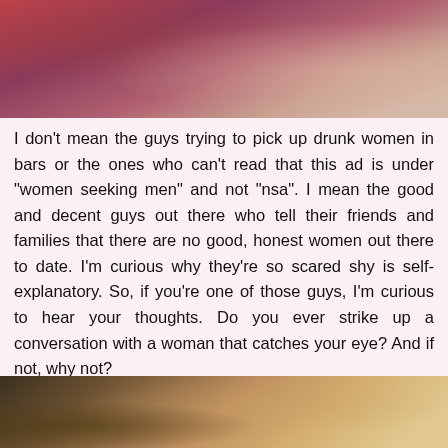[Figure (photo): Partial photo of a person, dimly lit with reddish tones, cropped at top of page]
I don't mean the guys trying to pick up drunk women in bars or the ones who can't read that this ad is under "women seeking men" and not "nsa". I mean the good and decent guys out there who tell their friends and families that there are no good, honest women out there to date. I'm curious why they're so scared shy is self-explanatory. So, if you're one of those guys, I'm curious to hear your thoughts. Do you ever strike up a conversation with a woman that catches your eye? And if not, why not?
[Figure (photo): Partial photo at bottom, warm golden and brown tones, partially visible hands and background]